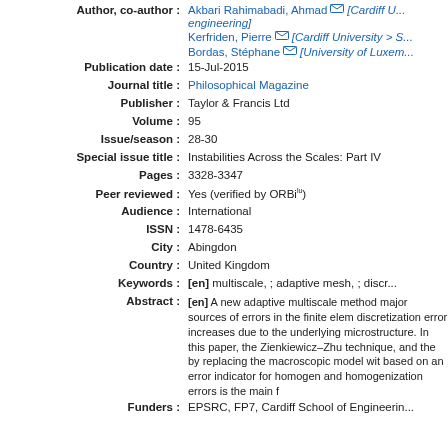Author, co-author : Akbari Rahimabadi, Ahmad [Cardiff U... engineering]
Kerfriden, Pierre [Cardiff University > S...]
Bordas, Stéphane [University of Luxem...]
Publication date : 15-Jul-2015
Journal title : Philosophical Magazine
Publisher : Taylor & Francis Ltd
Volume : 95
Issue/season : 28-30
Special issue title : Instabilities Across the Scales: Part IV
Pages : 3328-3347
Peer reviewed : Yes (verified by ORBilu)
Audience : International
ISSN : 1478-6435
City : Abingdon
Country : United Kingdom
Keywords : [en] multiscale, ; adaptive mesh, ; discr...
Abstract : [en] A new adaptive multiscale method... major sources of errors in the finite elem... discretization error increases due to the... underlying microstructure. In this paper,... the Zienkiewicz–Zhu technique, and the... by replacing the macroscopic model wit... based on an error indicator for homogen... and homogenization errors is the main f...
Funders : EPSRC, FP7, Cardiff School of Engineerin...